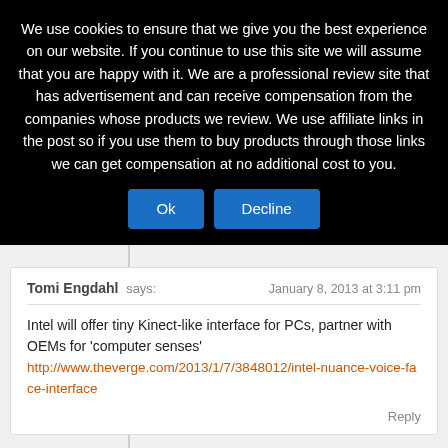We use cookies to ensure that we give you the best experience on our website. If you continue to use this site we will assume that you are happy with it. We are a professional review site that has advertisement and can receive compensation from the companies whose products we review. We use affiliate links in the post so if you use them to buy products through those links we can get compensation at no additional cost to you.
Ok | Decline
Tomi Engdahl says: January 8, 2013 at 3:11 pm
Intel will offer tiny Kinect-like interface for PCs, partner with OEMs for 'computer senses'
http://www.theverge.com/2013/1/7/3848012/intel-nuance-voice-face-interface
Reply
Tomi Engdahl says: February 5, 2013 at 11:57 am
Navy's Next-Gen Binoculars Will Recognize Your Face